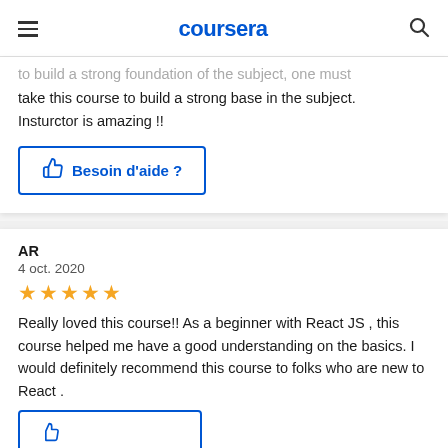coursera
to build a strong foundation of the subject, one must take this course to build a strong base in the subject. Insturctor is amazing !!
[Figure (other): Blue outlined button with thumbs up icon and text 'Besoin d'aide ?']
AR
4 oct. 2020
[Figure (other): Five gold star rating]
Really loved this course!! As a beginner with React JS , this course helped me have a good understanding on the basics. I would definitely recommend this course to folks who are new to React .
[Figure (other): Partially visible blue outlined button at bottom of page]